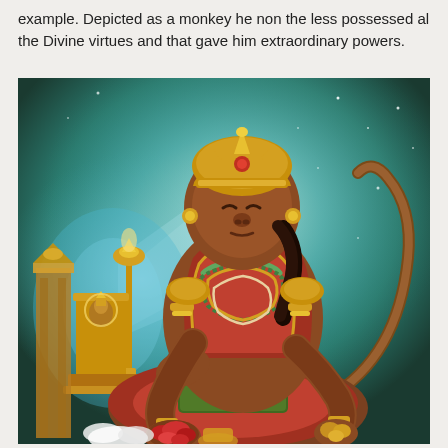example. Depicted as a monkey he non the less possessed al the Divine virtues and that gave him extraordinary powers.
[Figure (illustration): A colorful Hindu religious painting depicting Hanuman, the monkey god, seated in a devotional pose. He wears a golden crown, red and gold garments, and multiple necklaces. His hands are outstretched holding red flowers/offerings. Behind him on the left is a small golden shrine/idol of a seated deity with an ornate lamp. The background features a cosmic blue-green starry sky with rays of light.]